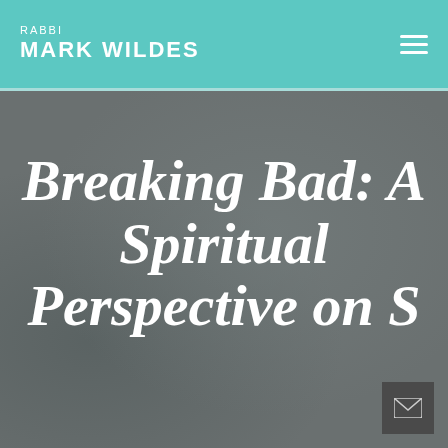RABBI MARK WILDES
Breaking Bad: A Spiritual Perspective on S...